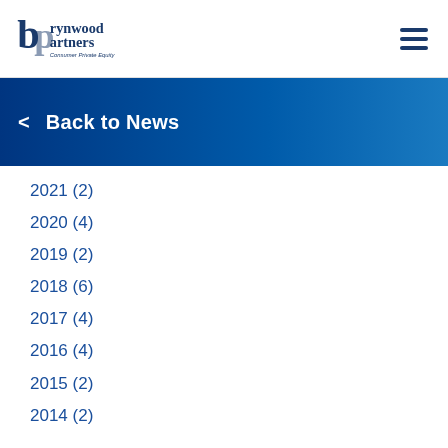Brynwood Partners — Consumer Private Equity
< Back to News
2021 (2)
2020 (4)
2019 (2)
2018 (6)
2017 (4)
2016 (4)
2015 (2)
2014 (2)